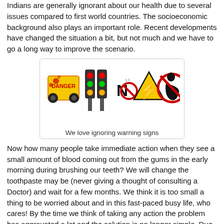Indians are generally ignorant about our health due to several issues compared to first world countries. The socioeconomic background also plays an important role. Recent developments have changed the situation a bit, but not much and we have to go a long way to improve the scenario.
[Figure (illustration): Warning signs illustration featuring a danger sign, traffic light, no smoking sign with exclamation mark, electrical hazard triangle, and no pregnant women sign]
We love ignoring warning signs
Now how many people take immediate action when they see a small amount of blood coming out from the gums in the early morning during brushing our teeth? We will change the toothpaste may be (never giving a thought of consulting a Doctor) and wait for a few months. We think it is too small a thing to be worried about and in this fast-paced busy life, who cares! By the time we think of taking any action the problem has aggravated a lot and the solution is no longer simple. Due to sheer ignorance we will now have to face some serious problem.